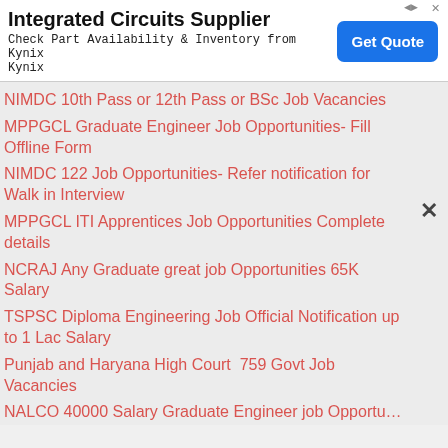[Figure (screenshot): Advertisement banner for Integrated Circuits Supplier - Kynix, with Get Quote button and close icon]
NIMDC 10th Pass or 12th Pass or BSc Job Vacancies
MPPGCL Graduate Engineer Job Opportunities- Fill Offline Form
NIMDC 122 Job Opportunities- Refer notification for Walk in Interview
MPPGCL ITI Apprentices Job Opportunities Complete details
NCRAJ Any Graduate great job Opportunities 65K Salary
TSPSC Diploma Engineering Job Official Notification up to 1 Lac Salary
Punjab and Haryana High Court  759 Govt Job Vacancies
NALCO 40000 Salary Graduate Engineer job Opportunities